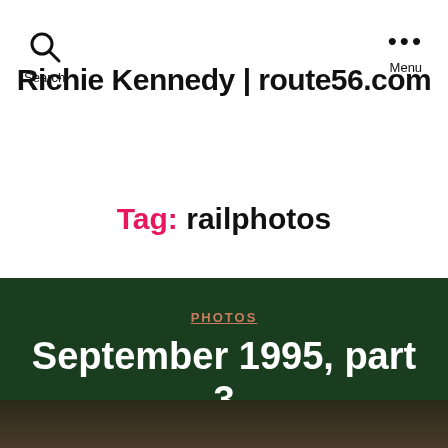Richie Kennedy | route56.com
Tag: railphotos
PHOTOS
September 1995, part 3
By route56   29 January 2016
No Comments